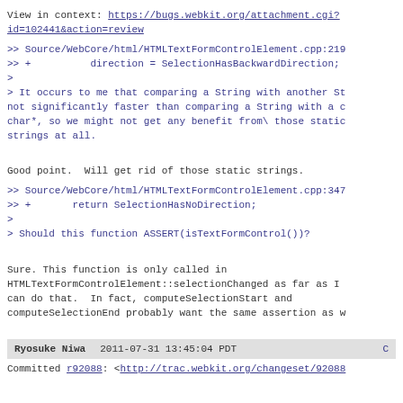View in context: https://bugs.webkit.org/attachment.cgi?id=102441&action=review
>> Source/WebCore/html/HTMLTextFormControlElement.cpp:219
>> +        direction = SelectionHasBackwardDirection;
>
> It occurs to me that comparing a String with another St not significantly faster than comparing a String with a c char*, so we might not get any benefit from\ those static strings at all.
Good point.  Will get rid of those static strings.
>> Source/WebCore/html/HTMLTextFormControlElement.cpp:347
>> +       return SelectionHasNoDirection;
>
> Should this function ASSERT(isTextFormControl())?
Sure. This function is only called in HTMLTextFormControlElement::selectionChanged as far as I can do that.  In fact, computeSelectionStart and computeSelectionEnd probably want the same assertion as w
Ryosuke Niwa   2011-07-31 13:45:04 PDT   C
Committed r92088: <http://trac.webkit.org/changeset/92088